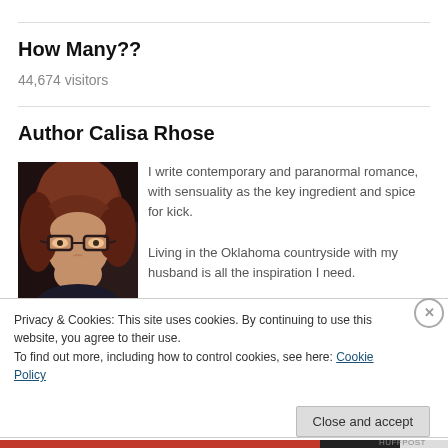How Many??
44,674 visitors
Author Calisa Rhose
[Figure (photo): Portrait photo of author Calisa Rhose, a woman with reddish-brown hair and glasses]
I write contemporary and paranormal romance, with sensuality as the key ingredient and spice for kick.
Living in the Oklahoma countryside with my husband is all the inspiration I need.
Privacy & Cookies: This site uses cookies. By continuing to use this website, you agree to their use.
To find out more, including how to control cookies, see here: Cookie Policy
Close and accept